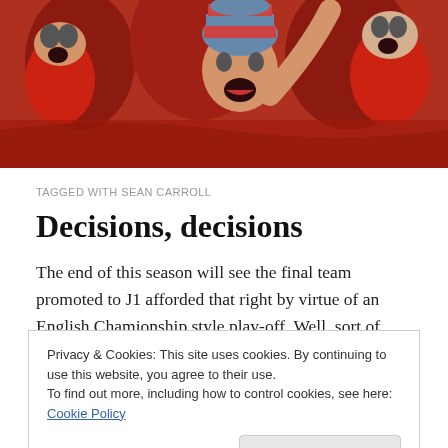[Figure (photo): Sports fans in red jerseys cheering enthusiastically, with mouths open shouting, one wearing a striped winter hat]
TAGGED WITH SEAN CARROLL
Decisions, decisions
The end of this season will see the final team promoted to J1 afforded that right by virtue of an English Chamionship style play-off. Well, sort of…
Privacy & Cookies: This site uses cookies. By continuing to use this website, you agree to their use.
To find out more, including how to control cookies, see here: Cookie Policy
[Figure (photo): Partial photo visible at the bottom of the page showing sports fans in red]